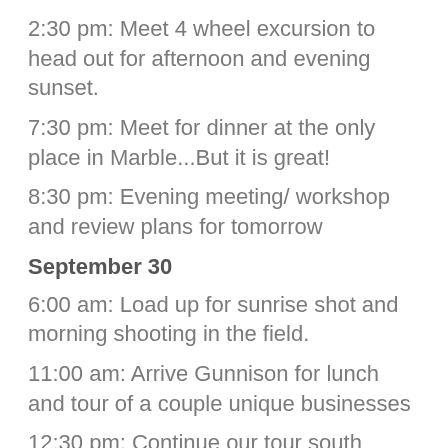2:30 pm: Meet 4 wheel excursion to head out for afternoon and evening sunset.
7:30 pm: Meet for dinner at the only place in Marble...But it is great!
8:30 pm: Evening meeting/ workshop and review plans for tomorrow
September 30
6:00 am: Load up for sunrise shot and morning shooting in the field.
11:00 am: Arrive Gunnison for lunch and tour of a couple unique businesses
12:30 pm: Continue our tour south across Owl Pass and on to Ouray, CO our home for the next few days.
3:00 pm: Check into hotel